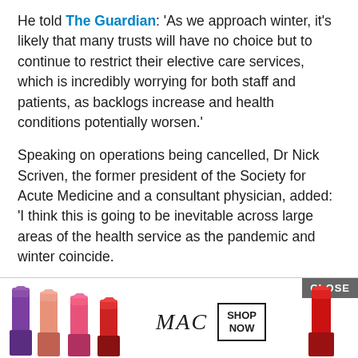He told The Guardian: 'As we approach winter, it's likely that many trusts will have no choice but to continue to restrict their elective care services, which is incredibly worrying for both staff and patients, as backlogs increase and health conditions potentially worsen.'
Speaking on operations being cancelled, Dr Nick Scriven, the former president of the Society for Acute Medicine and a consultant physician, added: 'I think this is going to be inevitable across large areas of the health service as the pandemic and winter coincide.
'We know bed numbers are low compared with other countries and with the necessary infection control processes the 'functioning' of what we have is slowed down across the board.'
[Figure (other): MAC cosmetics advertisement banner showing lipsticks in purple, peach, and pink/red colors with MAC logo text and a SHOP NOW button. A CLOSE button appears in the top right.]